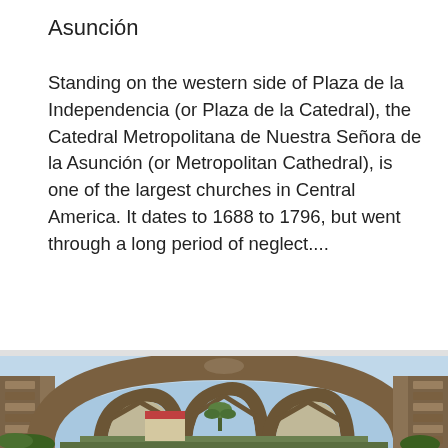Asunción
Standing on the western side of Plaza de la Independencia (or Plaza de la Catedral), the Catedral Metropolitana de Nuestra Señora de la Asunción (or Metropolitan Cathedral), is one of the largest churches in Central America. It dates to 1688 to 1796, but went through a long period of neglect....
[Figure (photo): Photograph of ancient stone arched ruins of a cathedral or church, with ornate Gothic-style arches made of brick and stone, open sky visible through the arches, tropical trees in the background, and a red-roofed building visible in the distance.]